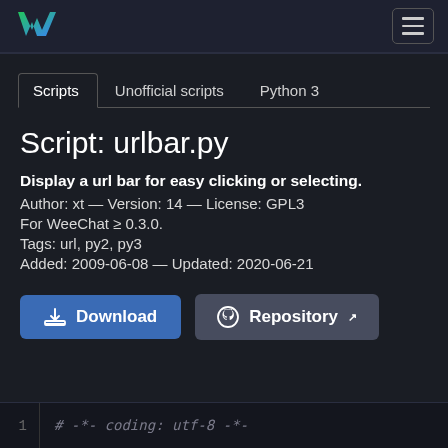[Figure (logo): WeeChat logo - stylized W with green and blue gradient, and hamburger menu icon in top right]
Scripts | Unofficial scripts | Python 3
Script: urlbar.py
Display a url bar for easy clicking or selecting.
Author: xt — Version: 14 — License: GPL3
For WeeChat ≥ 0.3.0.
Tags: url, py2, py3
Added: 2009-06-08 — Updated: 2020-06-21
[Figure (screenshot): Download button (blue) and Repository button (gray) with icons]
1    # -*- coding: utf-8 -*-